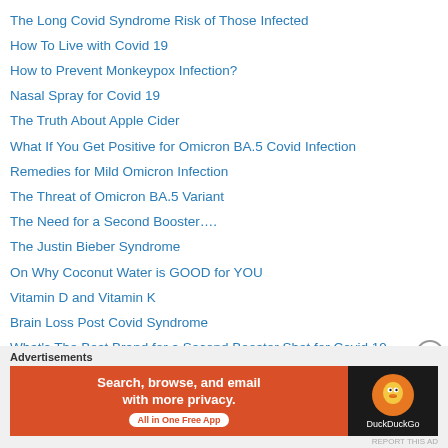The Long Covid Syndrome Risk of Those Infected
How To Live with Covid 19
How to Prevent Monkeypox Infection?
Nasal Spray for Covid 19
The Truth About Apple Cider
What If You Get Positive for Omicron BA.5 Covid Infection
Remedies for Mild Omicron Infection
The Threat of Omicron BA.5 Variant
The Need for a Second Booster….
The Justin Bieber Syndrome
On Why Coconut Water is GOOD for YOU
Vitamin D and Vitamin K
Brain Loss Post Covid Syndrome
What's The Best Brand for a Second Booster Shot for Covid 19
Sinovac Versus Pfizer Against Severe Covid Infection
[Figure (screenshot): DuckDuckGo advertisement banner: orange left section with text 'Search, browse, and email with more privacy. All in One Free App' and dark right section with DuckDuckGo logo]